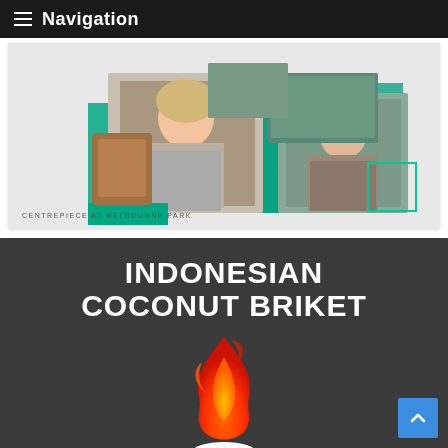≡ Navigation
[Figure (photo): Event venue image showing two people (a woman with blonde hair in a grey blazer and a man in a brown suit) against a teal/green background collage with 'CENTREPIECE AT MELBOURNE PARK' label]
CENTREPIECE AT MELBOURNE PARK
INDONESIAN COCONUT BRIKET
[Figure (illustration): Flame icon above a grill/bowl stand in white, flame colored orange-red gradient, on dark grey background]